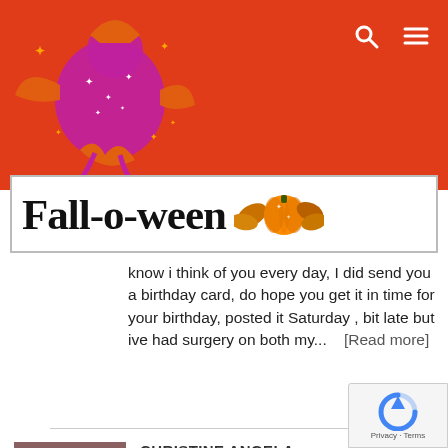[Figure (logo): Fall-o-ween website header with orange/red background, a flying witch illustration in pink and orange with stars, and navigation icons (search and menu) in the top right]
[Figure (logo): Fall-o-ween banner logo with black serif text 'Fall-o-ween' and autumn/Halloween decorations including orange pumpkin and fall leaves on white background]
know i think of you every day, I did send you a birthday card, do hope you get it in time for your birthday, posted it Saturday , bit late but ive had surgery on both my...    [Read more]
[Figure (photo): Small thumbnail photo of two people standing together]
CHRISTINE ANGELA BRAILSFORD
wrote on Barbara Garrett's Wall 1 month, 4 weeks ago